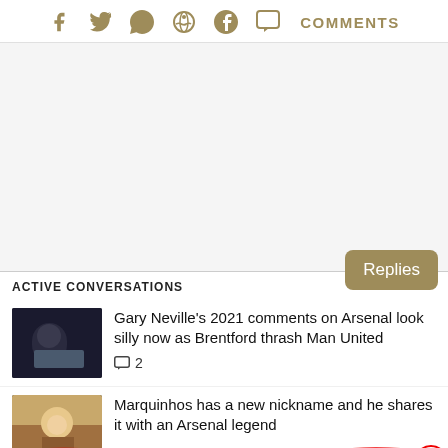[Figure (screenshot): Social sharing bar with Facebook, Twitter, WhatsApp, Reddit, Pinterest icons and a Comments button in gold/tan color]
[Figure (other): Advertisement/blank area]
ACTIVE CONVERSATIONS
Replies
Gary Neville's 2021 comments on Arsenal look silly now as Brentford thrash Man United
2
Marquinhos has a new nickname and he shares it with an Arsenal legend